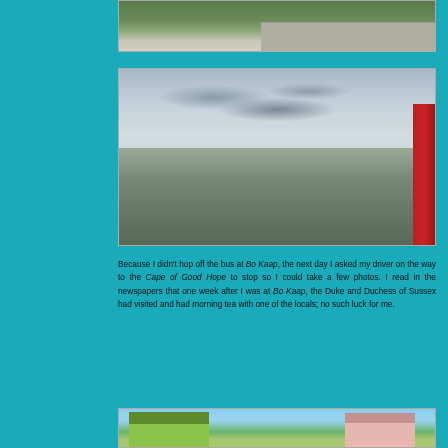[Figure (photo): Partial view of hillside with green vegetation and a concrete rooftop structure]
[Figure (photo): Panoramic view of Cape Town city from Bo Kaap hillside, with overcast clouds, hazy cityscape below, bay in background, and red post on right side]
Because I didn't hop off the bus at Bo Kaap, the next day I asked my driver on the way to the Cape of Good Hope to stop so I could take a few photos.  I read in the newspapers that one week after I was at Bo Kaap, the Duke and Duchess of Sussex had visited and had morning tea with one of the locals; no such luck for me.
[Figure (photo): Colorful buildings in Bo Kaap neighborhood — bright green and pink facades visible]